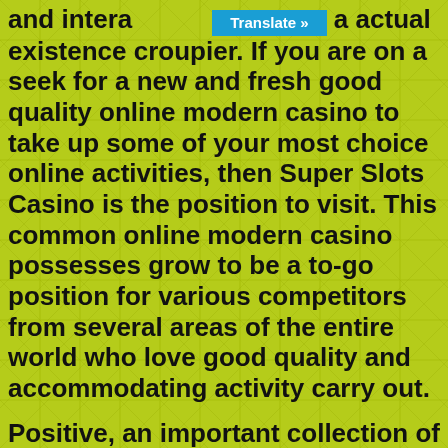and interact with a actual existence croupier. If you are on a seek for a new and fresh good quality online modern casino to take up some of your most choice online activities, then Super Slots Casino is the position to visit. This common online modern casino possesses grow to be a to-go position for various competitors from several areas of the entire world who love good quality and accommodating activity carry out.
Positive, an important collection of popular movie